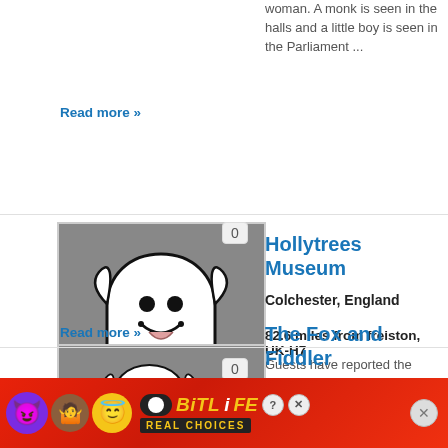woman. A monk is seen in the halls and a little boy is seen in the Parliament ...
Read more »
[Figure (illustration): Ghost icon on grey background with 0 badge]
Hollytrees Museum
Colchester, England
82.6 miles from freiston, UK-H7
Guests have reported the presence of a woman in white; it is believed to Miss Anne Lisle due to many people feeling as if someone is standing behind them in the same room as her portrait. A lady in grey is also reported in the East Lodge; her presence is ...
Read more »
[Figure (illustration): Ghost icon on grey background with 0 badge]
The Fox and Fiddler
Colchester, England
[Figure (infographic): BitLife ad banner: Real Choices]